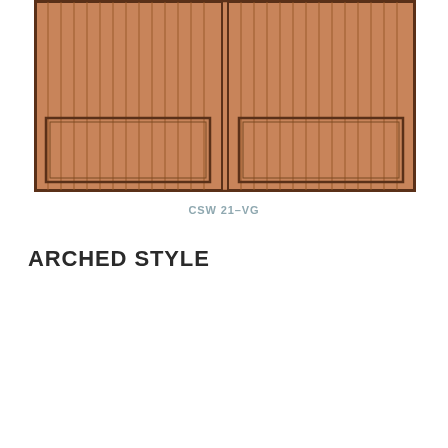[Figure (illustration): Two wood panel garage doors side by side, each featuring vertical tongue-and-groove planks in a warm brown wood tone with a lower rectangular raised panel inset. The doors have dark brown border frames.]
CSW 21-VG
ARCHED STYLE